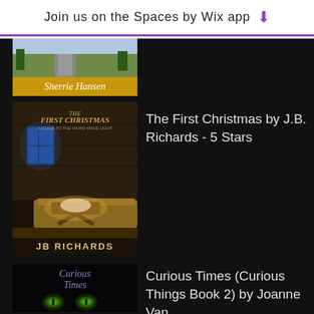Join us on the Spaces by Wix app
[Figure (photo): Book cover partially visible - Sherrie Hansen author name on yellow banner, top portion of book with road/nature scene]
[Figure (photo): Book cover: The First Christmas by JB Richards - dark stable scene with manger/hay and window with light]
The First Christmas by J.B. Richards - 5 Stars
[Figure (photo): Book cover: Curious Times (Curious Things Book 2) by Joanne Van Leerdam - black background with glowing green cat eyes and purple text]
Curious Times (Curious Things Book 2) by Joanne Van...